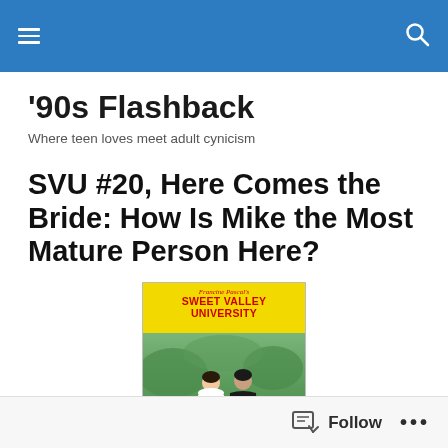'90s Flashback blog header with hamburger menu and search icon
'90s Flashback
Where teen loves meet adult cynicism
SVU #20, Here Comes the Bride: How Is Mike the Most Mature Person Here?
[Figure (photo): Book cover of Francine Pascal's Sweet Valley University #20, featuring a couple in wedding attire against a green garden background, with yellow header banner]
Follow  ...